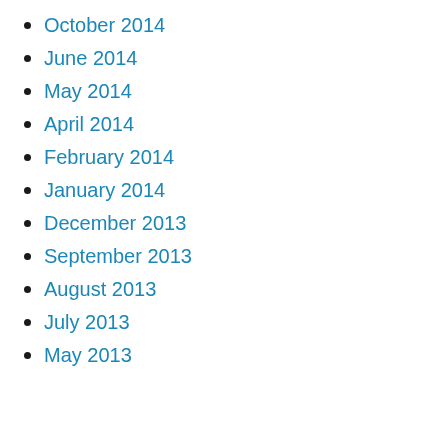October 2014
June 2014
May 2014
April 2014
February 2014
January 2014
December 2013
September 2013
August 2013
July 2013
May 2013